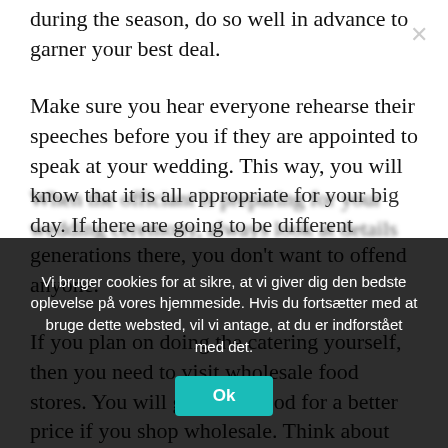during the season, do so well in advance to garner your best deal.
Make sure you hear everyone rehearse their speeches before you if they are appointed to speak at your wedding. This way, you will know that it is all appropriate for your big day. If there are going to be different generations there, you don't want to offend anyone.
If you plan on doing the catering yourself, then you need to visit wholesale food stores. You will get more food for a better price if you shop wholesale. Think about asking friends to contribute to the food...
When the officiant is preparing for your wedding ceremony, always look at details of their previous...
Vi bruger cookies for at sikre, at vi giver dig den bedste oplevelse på vores hjemmeside. Hvis du fortsætter med at bruge dette websted, vil vi antage, at du er indforstået med det.